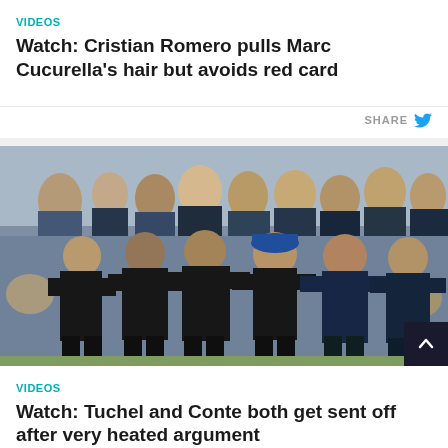VIDEOS
Watch: Cristian Romero pulls Marc Cucurella's hair but avoids red card
SHARE
[Figure (photo): Heated confrontation on football pitch sideline between managers and staff, one figure wearing blue cap in center, crowd watching in background]
VIDEOS
Watch: Tuchel and Conte both get sent off after very heated argument